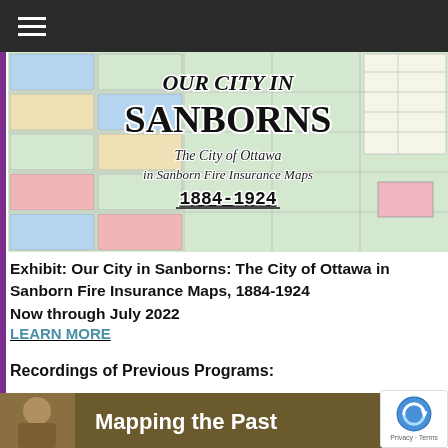Navigation menu
[Figure (illustration): Sanborn map-style exhibit banner. Text overlay reads 'OUR CITY IN SANBORNS – The City of Ottawa in Sanborn Fire Insurance Maps 1884-1924' on a colorful grid map background.]
Exhibit: Our City in Sanborns: The City of Ottawa in Sanborn Fire Insurance Maps, 1884-1924
Now through July 2022
LEARN MORE
Recordings of Previous Programs:
[Figure (photo): Video thumbnail strip showing a person on left and text 'Mapping the Past' on a dark background.]